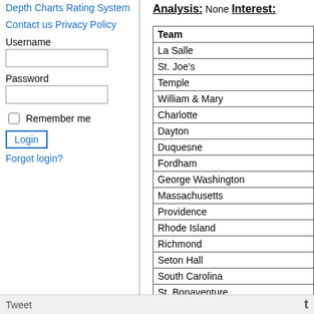Depth Charts
Rating System
Contact us
Privacy Policy
Username
Password
Remember me
Login
Forgot login?
Analysis:
None
Interest:
| Team |
| --- |
| La Salle |
| St. Joe's |
| Temple |
| William & Mary |
| Charlotte |
| Dayton |
| Duquesne |
| Fordham |
| George Washington |
| Massachusetts |
| Providence |
| Rhode Island |
| Richmond |
| Seton Hall |
| South Carolina |
| St. Bonaventure |
Tweet   t